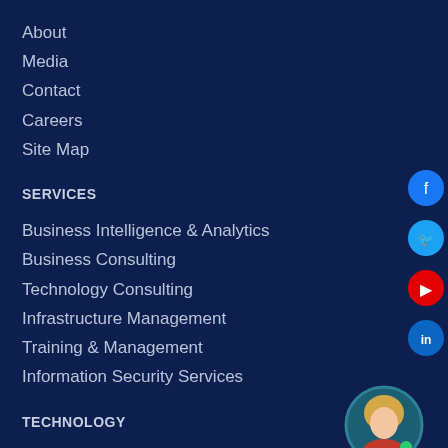About
Media
Contact
Careers
Site Map
SERVICES
Business Intelligence & Analytics
Business Consulting
Technology Consulting
Infrastructure Management
Training & Management
Information Security Services
TECHNOLOGY
Blockchain Technology
[Figure (illustration): Social media icons (Facebook, Twitter, YouTube, LinkedIn) as circular buttons on the right side, and an avatar illustration of a person in the bottom right corner]